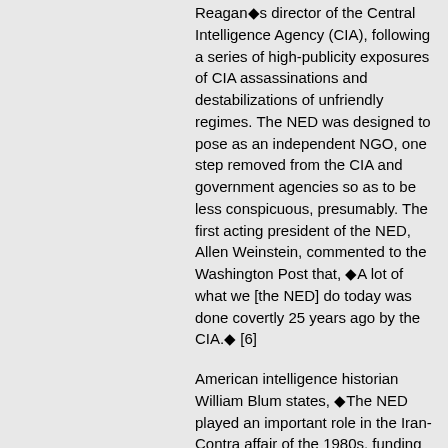Reagan◆s director of the Central Intelligence Agency (CIA), following a series of high-publicity exposures of CIA assassinations and destabilizations of unfriendly regimes. The NED was designed to pose as an independent NGO, one step removed from the CIA and government agencies so as to be less conspicuous, presumably. The first acting president of the NED, Allen Weinstein, commented to the Washington Post that, ◆A lot of what we [the NED] do today was done covertly 25 years ago by the CIA.◆ [6]
American intelligence historian William Blum states, ◆The NED played an important role in the Iran-Contra affair of the 1980s, funding key components of Oliver North's shadowy 'Project Democracy." This network privatized US foreign policy, waged war, ran arms and drugs, and engaged in other equally charming activities. In 1987, a White House spokesman stated that those at NED 'run Project Democracy.'" [7]
The most prominent pro-Dalai Lama, Tibet independence organization today is the International Campaign for Tibet, founded in Washington in 1988. Since at least 1994 the ICT has been receiving funds from the NED. The ICT awarded